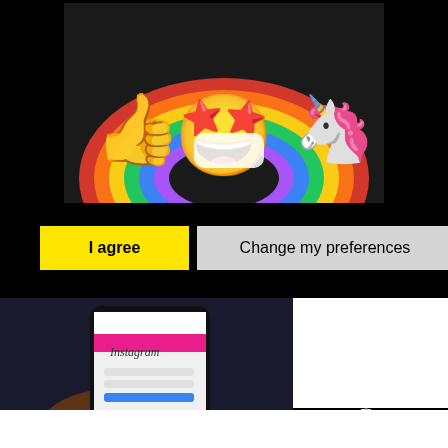[Figure (illustration): Emoji illustration showing star-eyes emoji with face mask, thumbs up emoji, unicorn emoji, and rainbow colors, on black background]
[Figure (screenshot): Two buttons: yellow 'I agree' button and light gray 'Change my preferences' button on black background]
[Figure (photo): Photo of a hand holding an iPhone displaying the Instagram login screen, with a white advertisement box to the right and a close button]
10 Secrets
[Figure (photo): Thumbnail image of a car being washed]
10 Weird But Useful Car Cleaning Hacks That Will Shock You
Recommended by